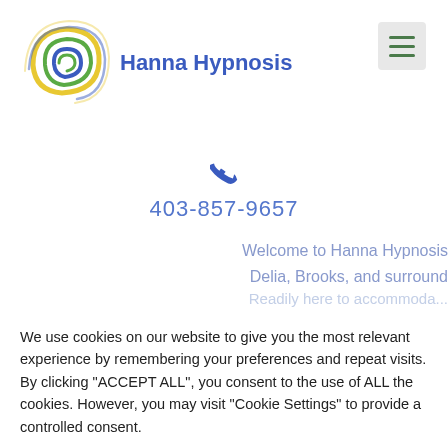[Figure (logo): Hanna Hypnosis logo: a swirl of blue, green, and yellow lines forming a circular pattern]
Hanna Hypnosis
[Figure (other): Hamburger menu icon with three horizontal green lines on a light grey square background]
[Figure (other): Blue phone handset icon]
403-857-9657
Welcome to Hanna Hypnosis
Delia, Brooks, and surround
We use cookies on our website to give you the most relevant experience by remembering your preferences and repeat visits. By clicking "ACCEPT ALL", you consent to the use of ALL the cookies. However, you may visit "Cookie Settings" to provide a controlled consent.
Cookie Settings
REJECT ALL
ACCEPT ALL